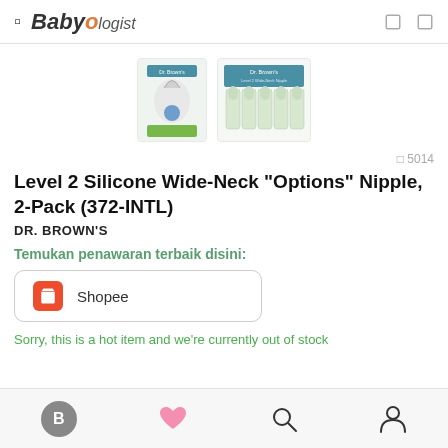Babyologist
[Figure (photo): Two product images of Dr. Brown's Level 2 Silicone Wide-Neck Options Nipple 2-Pack packaging]
🔖 5014
Level 2 Silicone Wide-Neck "Options" Nipple, 2-Pack (372-INTL)
DR. BROWN'S
Temukan penawaran terbaik disini:
Shopee
Sorry, this is a hot item and we're currently out of stock
B | ♥ | 🔍 | 👤